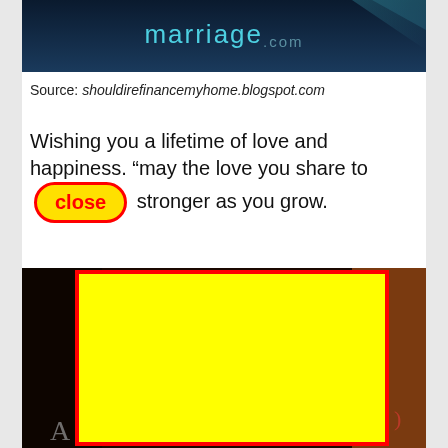[Figure (screenshot): Top banner image showing marriage.com logo on a dark blue/teal background with light rays]
Source: shouldirefinancemyhome.blogspot.com
Wishing you a lifetime of love and happiness. “may the love you share to [close button overlay] stronger as you grow.
[Figure (photo): A photo partially covered by a large yellow rectangle with red border (advertisement overlay). The photo shows a dark book-like image with letter A visible at bottom left. A red oval 'close' button appears above the yellow rectangle.]